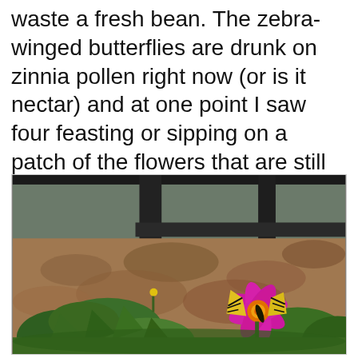waste a fresh bean. The zebra-winged butterflies are drunk on zinnia pollen right now (or is it nectar) and at one point I saw four feasting or sipping on a patch of the flowers that are still blooming nicely.
[Figure (photo): Outdoor garden photo showing zinnia flowers in bloom with a zebra-winged butterfly perched on a bright pink/magenta zinnia flower. Background shows brown leaf litter on the ground, green plants, and a dark wooden fence or structure.]